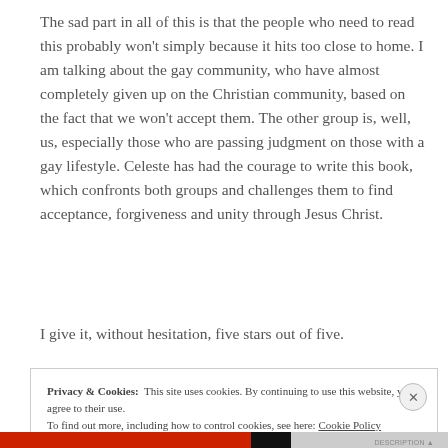The sad part in all of this is that the people who need to read this probably won't simply because it hits too close to home. I am talking about the gay community, who have almost completely given up on the Christian community, based on the fact that we won't accept them. The other group is, well, us, especially those who are passing judgment on those with a gay lifestyle. Celeste has had the courage to write this book, which confronts both groups and challenges them to find acceptance, forgiveness and unity through Jesus Christ.
I give it, without hesitation, five stars out of five.
Privacy & Cookies: This site uses cookies. By continuing to use this website, you agree to their use. To find out more, including how to control cookies, see here: Cookie Policy